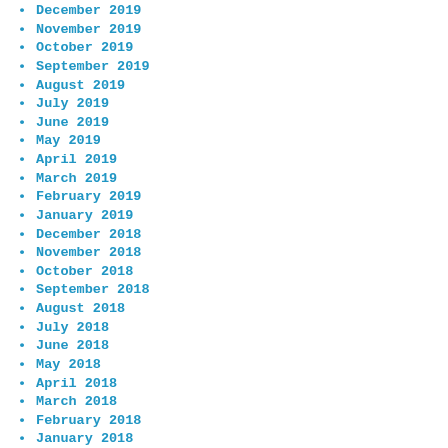December 2019
November 2019
October 2019
September 2019
August 2019
July 2019
June 2019
May 2019
April 2019
March 2019
February 2019
January 2019
December 2018
November 2018
October 2018
September 2018
August 2018
July 2018
June 2018
May 2018
April 2018
March 2018
February 2018
January 2018
December 2017